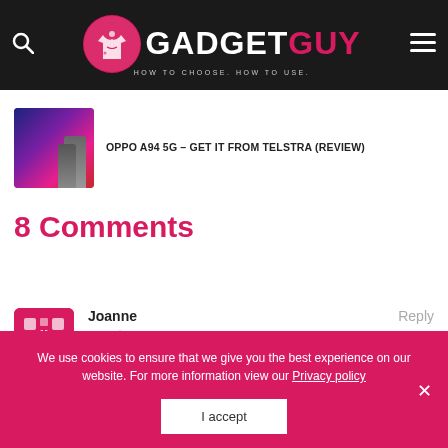GADGET GUY — HOW TO CHOOSE. HOW TO USE.
OPPO A94 5G – GET IT FROM TELSTRA (REVIEW)
8 Comments
Joanne
Reply
We use cookies to ensure that we give you the best experience on our website. For more information view our Privacy policy
I accept